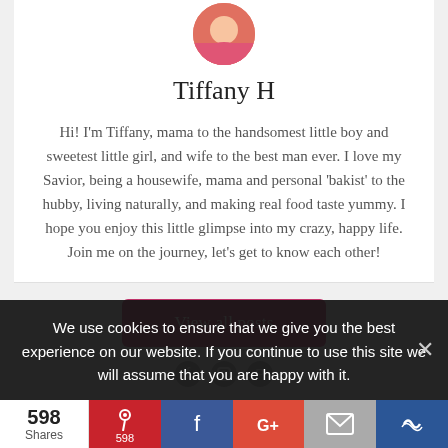[Figure (photo): Circular profile photo of Tiffany H, partially cropped at top]
Tiffany H
Hi! I'm Tiffany, mama to the handsomest little boy and sweetest little girl, and wife to the best man ever. I love my Savior, being a housewife, mama and personal 'bakist' to the hubby, living naturally, and making real food taste yummy. I hope you enjoy this little glimpse into my crazy, happy life. Join me on the journey, let's get to know each other!
View all posts
We use cookies to ensure that we give you the best experience on our website. If you continue to use this site we will assume that you are happy with it.
598 Shares